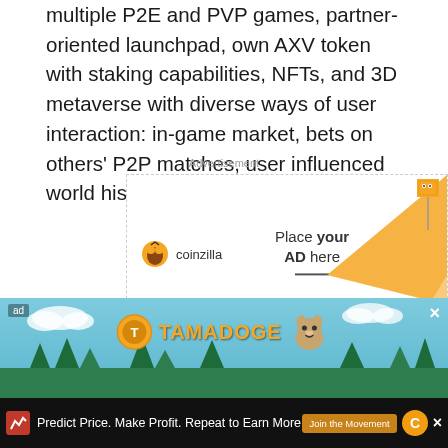multiple P2E and PVP games, partner-oriented launchpad, own AXV token with staking capabilities, NFTs, and 3D metaverse with diverse ways of user interaction: in-game market, bets on others' P2P matches, user influenced world history events, etc.
[Figure (infographic): Coinzilla advertisement placeholder banner with 'Place your AD here' text and orange arrow graphic]
When launched, it will be available as a browser extension and on iOS and Android devices. Players can compete in
[Figure (infographic): Tamadoge advertisement banner with cartoon dog and colorful background]
[Figure (infographic): Bottom bar advertisement: Predict Price. Make Profit. Repeat to Earn More with Join the Movement button]